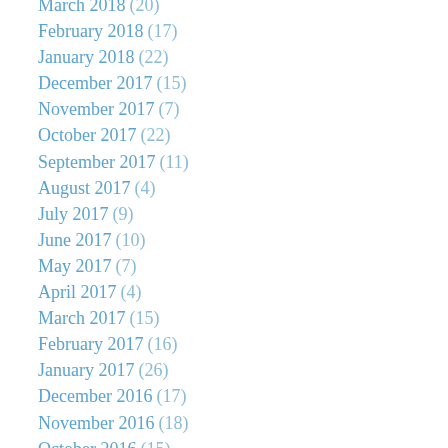March 2018 (20)
February 2018 (17)
January 2018 (22)
December 2017 (15)
November 2017 (7)
October 2017 (22)
September 2017 (11)
August 2017 (4)
July 2017 (9)
June 2017 (10)
May 2017 (7)
April 2017 (4)
March 2017 (15)
February 2017 (16)
January 2017 (26)
December 2016 (17)
November 2016 (18)
October 2016 (15)
September 2016 (6)
August 2016 (15)